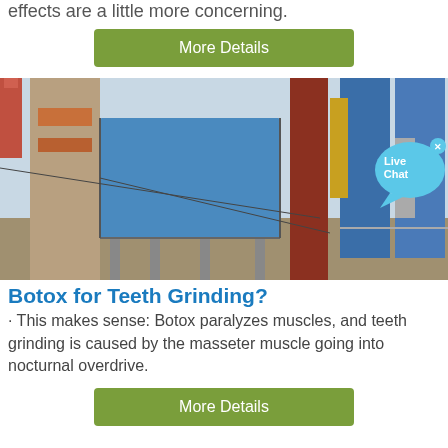effects are a little more concerning.
More Details
[Figure (photo): Industrial factory scene with large blue dust collector/filter unit, tall brick chimney, red metal column, and blue steel silos in the background. A 'Live Chat' chat bubble overlay appears in the lower right corner.]
Botox for Teeth Grinding?
· This makes sense: Botox paralyzes muscles, and teeth grinding is caused by the masseter muscle going into nocturnal overdrive.
More Details